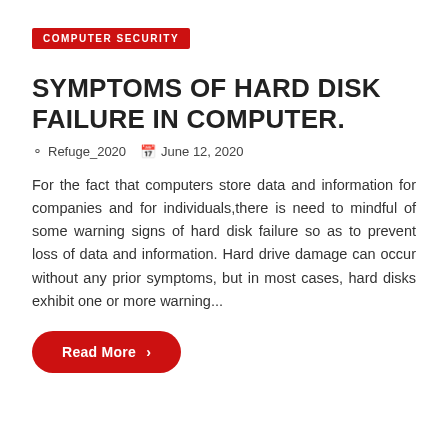COMPUTER SECURITY
SYMPTOMS OF HARD DISK FAILURE IN COMPUTER.
Refuge_2020   June 12, 2020
For the fact that computers store data and information for companies and for individuals,there is need to mindful of some warning signs of hard disk failure so as to prevent loss of data and information. Hard drive damage can occur without any prior symptoms, but in most cases, hard disks exhibit one or more warning...
Read More >